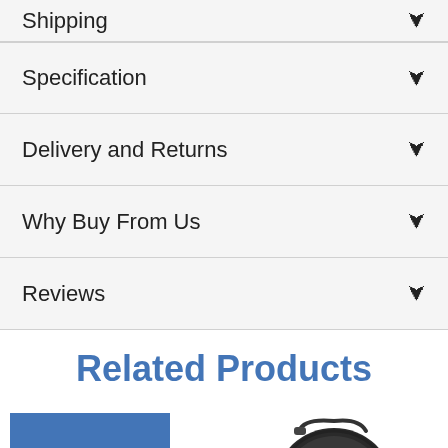Shipping
Specification
Delivery and Returns
Why Buy From Us
Reviews
Related Products
SAVE $29.00
[Figure (photo): Fishing reel product image - Daiwa Sealine fishing reel in black]